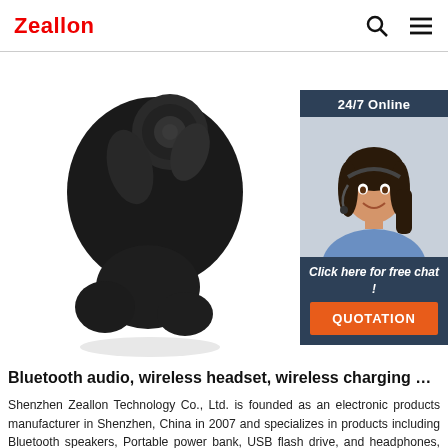Zeallon
[Figure (photo): Close-up photo of a black Bluetooth wireless earbud/headset against white background]
[Figure (photo): Sidebar widget showing '24/7 Online' header, a smiling customer service representative wearing a headset, 'Click here for free chat!' text, and an orange 'QUOTATION' button]
Bluetooth audio, wireless headset, wireless charging …
Shenzhen Zeallon Technology Co., Ltd. is founded as an electronic products manufacturer in Shenzhen, China in 2007 and specializes in products including Bluetooth speakers, Portable power bank, USB flash drive, and headphones, etc.... With a modernized management system, advanced machine facilities,